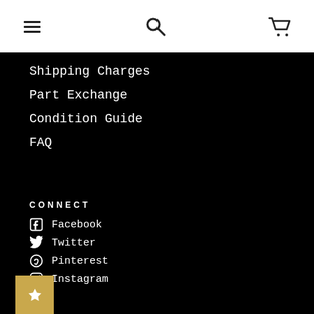Navigation bar with menu, search, and cart icons
Shipping Charges
Part Exchange
Condition Guide
FAQ
CONNECT
Facebook
Twitter
Pinterest
Instagram